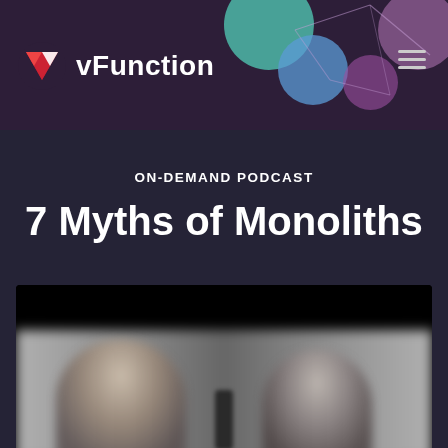[Figure (logo): vFunction logo with triangular V icon in red/white and company name 'vFunction' in white bold text on dark purple header bar with decorative teal, blue, and purple blob shapes and network line graphics]
ON-DEMAND PODCAST
7 Myths of Monoliths
[Figure (photo): Blurred video thumbnail showing two people (podcast hosts) with a microphone, on a black background]